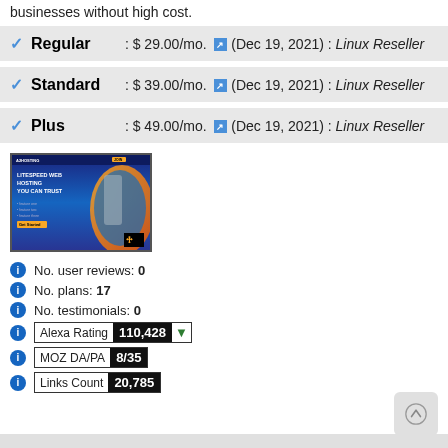businesses without high cost.
Regular : $ 29.00/mo. (Dec 19, 2021) : Linux Reseller
Standard : $ 39.00/mo. (Dec 19, 2021) : Linux Reseller
Plus : $ 49.00/mo. (Dec 19, 2021) : Linux Reseller
[Figure (screenshot): Screenshot of a web hosting website showing LiteSpeed Web Hosting branding with blue and gold design]
No. user reviews: 0
No. plans: 17
No. testimonials: 0
Alexa Rating 110,428
MOZ DA/PA 8/35
Links Count 20,785